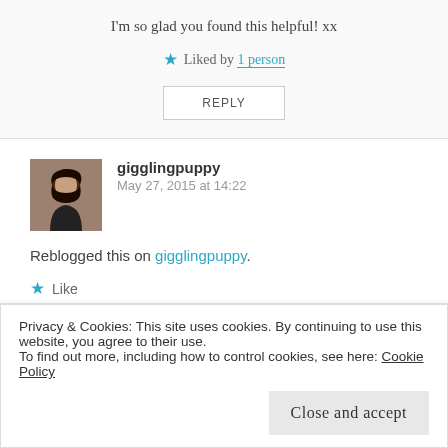I'm so glad you found this helpful! xx
★ Liked by 1 person
REPLY
gigglingpuppy
May 27, 2015 at 14:22
Reblogged this on gigglingpuppy.
★ Like
REPLY
Privacy & Cookies: This site uses cookies. By continuing to use this website, you agree to their use.
To find out more, including how to control cookies, see here: Cookie Policy
Close and accept